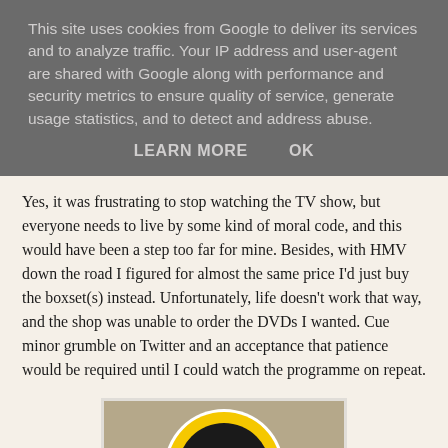This site uses cookies from Google to deliver its services and to analyze traffic. Your IP address and user-agent are shared with Google along with performance and security metrics to ensure quality of service, generate usage statistics, and to detect and address abuse.
LEARN MORE    OK
Yes, it was frustrating to stop watching the TV show, but everyone needs to live by some kind of moral code, and this would have been a step too far for mine. Besides, with HMV down the road I figured for almost the same price I'd just buy the boxset(s) instead. Unfortunately, life doesn't work that way, and the shop was unable to order the DVDs I wanted. Cue minor grumble on Twitter and an acceptance that patience would be required until I could watch the programme on repeat.
[Figure (photo): Circular HMV badge/logo with black background and yellow border, featuring a yellow HMV dog logo figure on the dark surface]